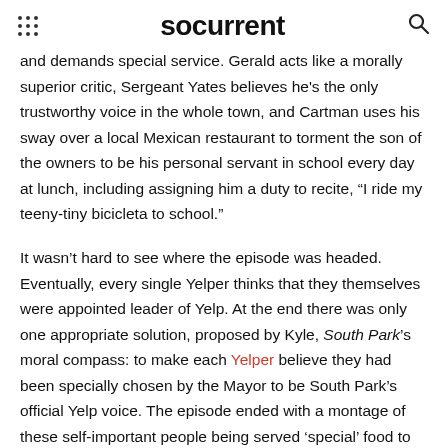socurrent
and demands special service. Gerald acts like a morally superior critic, Sergeant Yates believes he's the only trustworthy voice in the whole town, and Cartman uses his sway over a local Mexican restaurant to torment the son of the owners to be his personal servant in school every day at lunch, including assigning him a duty to recite, “I ride my teeny-tiny bicicleta to school.”
It wasn’t hard to see where the episode was headed. Eventually, every single Yelper thinks that they themselves were appointed leader of Yelp. At the end there was only one appropriate solution, proposed by Kyle, South Park’s moral compass: to make each Yelper believe they had been specially chosen by the Mayor to be South Park’s official Yelp voice. The episode ended with a montage of these self-important people being served ‘special’ food to the jolly tune of “Boogers and Cum” suggesting that any person selfish or snobby enough to claim special